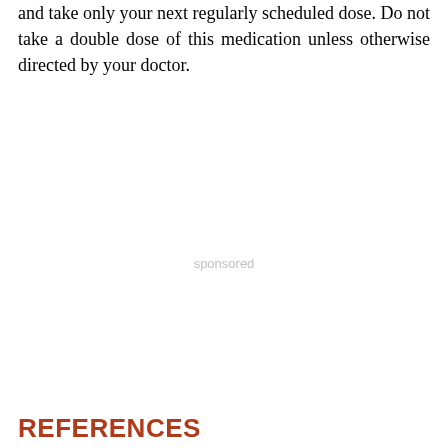and take only your next regularly scheduled dose. Do not take a double dose of this medication unless otherwise directed by your doctor.
sponsored
REFERENCES